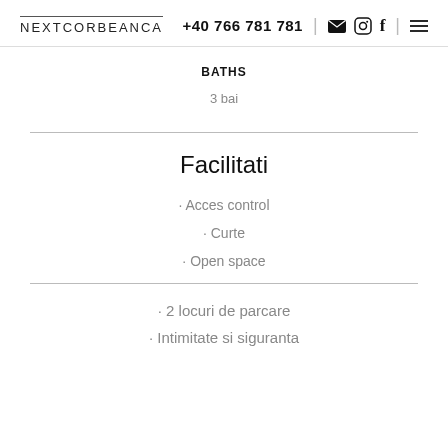NEXTCORBEANCA  +40 766 781 781
BATHS
3 bai
Facilitati
· Acces control
· Curte
· Open space
· 2 locuri de parcare
· Intimitate si siguranta